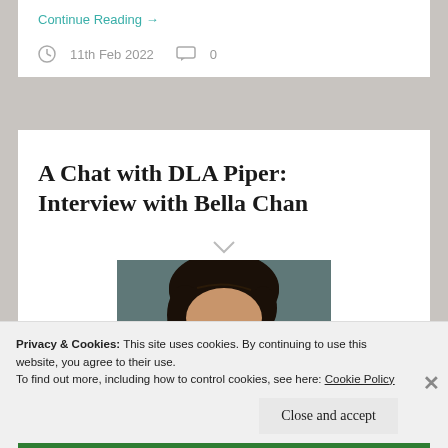Continue Reading →
11th Feb 2022   0
A Chat with DLA Piper: Interview with Bella Chan
[Figure (photo): Portrait photo of Bella Chan, showing top of head with dark hair against grey background]
Privacy & Cookies: This site uses cookies. By continuing to use this website, you agree to their use.
To find out more, including how to control cookies, see here: Cookie Policy
Close and accept